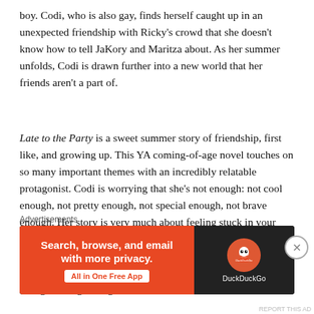boy. Codi, who is also gay, finds herself caught up in an unexpected friendship with Ricky's crowd that she doesn't know how to tell JaKory and Maritza about. As her summer unfolds, Codi is drawn further into a new world that her friends aren't a part of.
Late to the Party is a sweet summer story of friendship, first like, and growing up. This YA coming-of-age novel touches on so many important themes with an incredibly relatable protagonist. Codi is worrying that she's not enough: not cool enough, not pretty enough, not special enough, not brave enough. Her story is very much about feeling stuck in your own way and being afraid to go after what you really want. Throughout the summer we watch Codi come into her own with the help of her newfound friends and how...
Advertisements
[Figure (other): DuckDuckGo advertisement banner: orange left panel with text 'Search, browse, and email with more privacy. All in One Free App' and dark right panel with DuckDuckGo logo and name.]